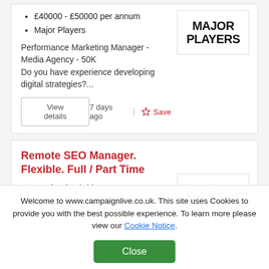£40000 - £50000 per annum
Major Players
Performance Marketing Manager - Media Agency - 50K Do you have experience developing digital strategies?...
View details
7 days ago
Save
[Figure (logo): Major Players logo in bold black uppercase text]
Remote SEO Manager. Flexible. Full / Part Time
London / Hybrid or Remote
£40,000 - £50,000 + 10%
Package
Recruitment Revolut...
[Figure (logo): Recruitment logo in dark blue italic serif text]
Welcome to www.campaignlive.co.uk. This site uses Cookies to provide you with the best possible experience. To learn more please view our Cookie Notice.
Close